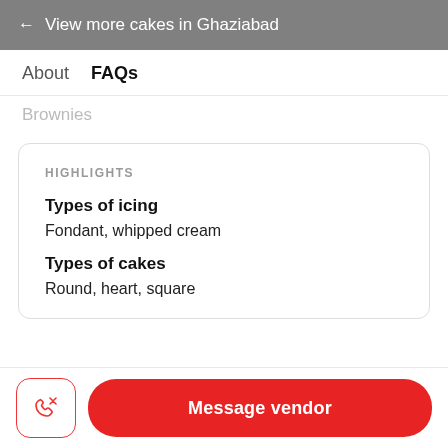← View more cakes in Ghaziabad
About   FAQs
Brownies
HIGHLIGHTS
Types of icing
Fondant, whipped cream
Types of cakes
Round, heart, square
Message vendor